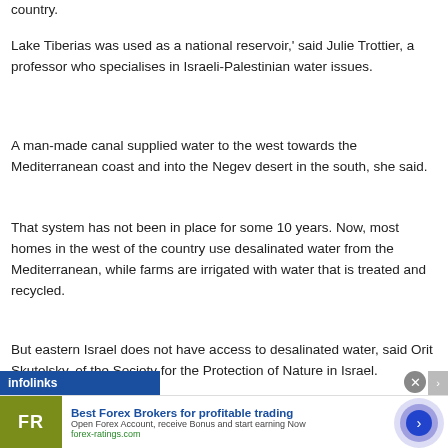country.
Lake Tiberias was used as a national reservoir,' said Julie Trottier, a professor who specialises in Israeli-Palestinian water issues.
A man-made canal supplied water to the west towards the Mediterranean coast and into the Negev desert in the south, she said.
That system has not been in place for some 10 years. Now, most homes in the west of the country use desalinated water from the Mediterranean, while farms are irrigated with water that is treated and recycled.
But eastern Israel does not have access to desalinated water, said Orit Skutelsky, of the Society for the Protection of Nature in Israel.
[Figure (other): infolinks advertisement banner for Best Forex Brokers for profitable trading at forex-ratings.com]